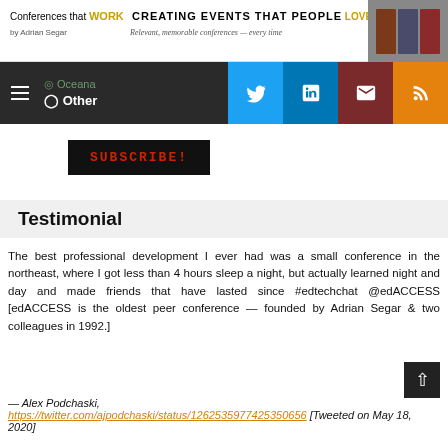Conferences that WORK CREATING EVENTS THAT PEOPLE LOVE by Adrian Segar — Relevant, memorable conferences — every time
[Figure (screenshot): Navigation bar with hamburger menu, radio button 'Other' text, and social media icons for Twitter, LinkedIn, Email, and RSS feed]
[Figure (screenshot): SUBSCRIBE! button in red text on black background]
Testimonial
The best professional development I ever had was a small conference in the northeast, where I got less than 4 hours sleep a night, but actually learned night and day and made friends that have lasted since #edtechchat @edACCESS [edACCESS is the oldest peer conference — founded by Adrian Segar & two colleagues in 1992.]
— Alex Podchaski, https://twitter.com/ajpodchaski/status/12625359774253 50656 [Tweeted on May 18, 2020]